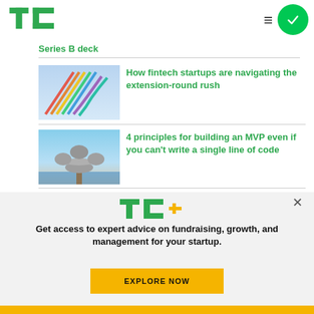TechCrunch logo, hamburger menu, green circle check
Series B deck
[Figure (photo): Colorful coiled spring cables in rainbow colors against blue background]
How fintech startups are navigating the extension-round rush
[Figure (photo): Balanced rocks stacked on a post by the ocean]
4 principles for building an MVP even if you can't write a single line of code
[Figure (logo): TC+ logo in green and yellow]
Get access to expert advice on fundraising, growth, and management for your startup.
EXPLORE NOW